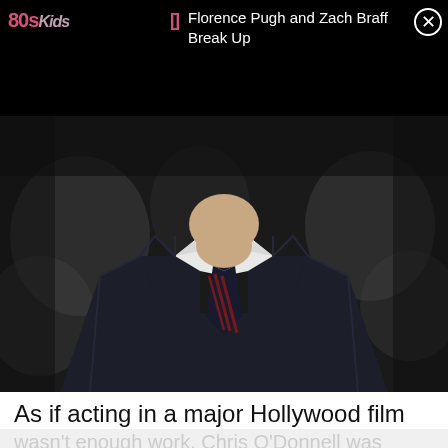80s Kids
Florence Pugh and Zach Braff Break Up
[Figure (photo): Movie still showing a young man in a dark blazer and white shirt with a dark striped tie with red accents, from chin down. Background shows blurred audience/crowd.]
As if acting in a major Hollywood film
wasn't enough work, Chris O'Donnell was putting himself through college while